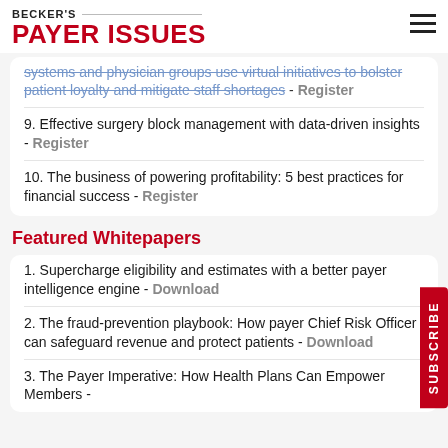BECKER'S PAYER ISSUES
systems and physician groups use virtual initiatives to bolster patient loyalty and mitigate staff shortages - Register
9. Effective surgery block management with data-driven insights - Register
10. The business of powering profitability: 5 best practices for financial success - Register
Featured Whitepapers
1. Supercharge eligibility and estimates with a better payer intelligence engine - Download
2. The fraud-prevention playbook: How payer Chief Risk Officer can safeguard revenue and protect patients - Download
3. The Payer Imperative: How Health Plans Can Empower Members -